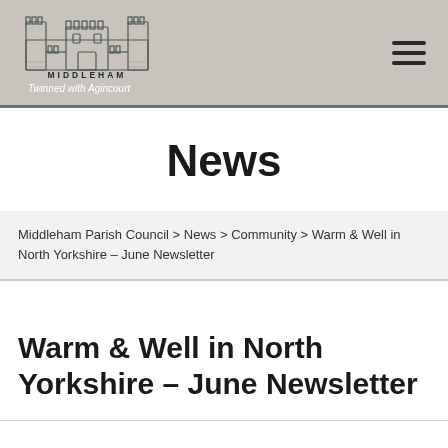[Figure (logo): Middleham Parish Council logo with castle illustration, text MIDDLEHAM and tagline Twinned with Agincourt]
News
Middleham Parish Council > News > Community > Warm & Well in North Yorkshire – June Newsletter
Warm & Well in North Yorkshire – June Newsletter